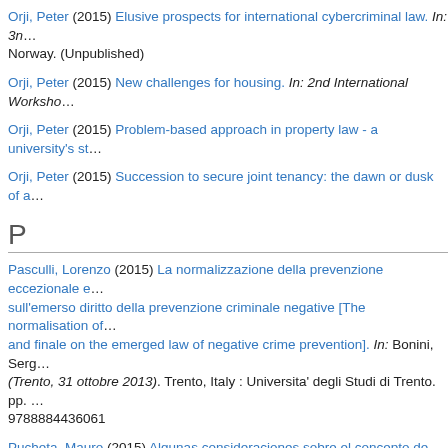Orji, Peter (2015) Elusive prospects for international cybercriminal law. In: 3n... Norway. (Unpublished)
Orji, Peter (2015) New challenges for housing. In: 2nd International Worksho...
Orji, Peter (2015) Problem-based approach in property law - a university's st...
Orji, Peter (2015) Succession to secure joint tenancy: the dawn or dusk of a...
P
Pasculli, Lorenzo (2015) La normalizzazione della prevenzione eccezionale e sull'emerso diritto della prevenzione criminale negative [The normalisation of... and finale on the emerged law of negative crime prevention]. In: Bonini, Serg... (Trento, 31 ottobre 2013). Trento, Italy : Universita' degli Studi di Trento. pp. ... 9788884436061
Pucheta, Mauro (2015) Algunas consideraciones sobre el concepto de hipos... considerations about workers' subordination in the light of recent Supreme C... Argentina : Rubinzal-Culzoni. pp. 311-342. 2 ISBN 9789873006265
Pucheta, Mauro (2015) Derechos humanos y derecho del trabajo : un vinculo... that requires further development at the regional level]. Revista de la Secreta...